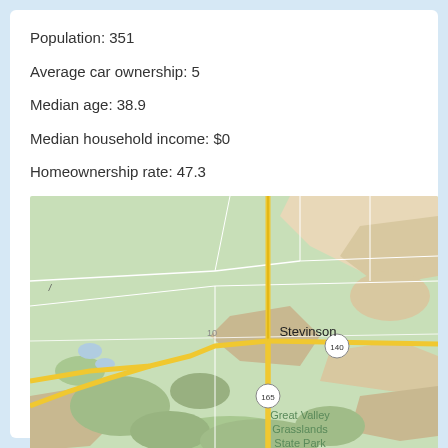Population: 351
Average car ownership: 5
Median age: 38.9
Median household income: $0
Homeownership rate: 47.3
[Figure (map): Street/terrain map showing Stevinson area with roads, Route 140, Route 165, and Great Valley Grasslands State Park labeled. Yellow roads visible including a main north-south road and diagonal road to the southwest. Green and tan land areas.]